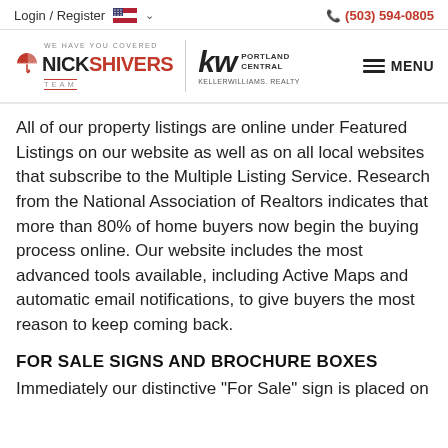Login / Register   (503) 594-0805
[Figure (logo): Nick Shivers Team / Keller Williams Portland Central logo with menu icon]
All of our property listings are online under Featured Listings on our website as well as on all local websites that subscribe to the Multiple Listing Service. Research from the National Association of Realtors indicates that more than 80% of home buyers now begin the buying process online. Our website includes the most advanced tools available, including Active Maps and automatic email notifications, to give buyers the most reason to keep coming back.
FOR SALE SIGNS AND BROCHURE BOXES
Immediately our distinctive "For Sale" sign is placed on